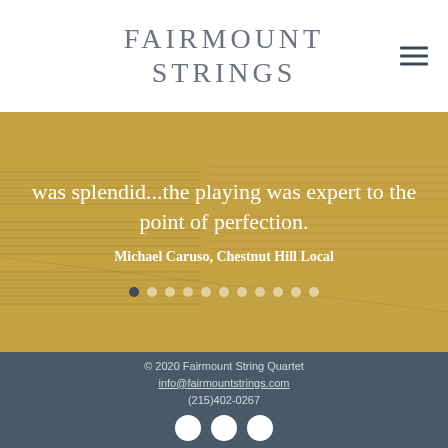FAIRMOUNT STRINGS
was splendid...the playing was expert to the point of perfection.
Michael Caruso, Chestnut Hill Local
© 2020 Fairmount String Quartet
info@fairmountstrings.com
(215)402-0267